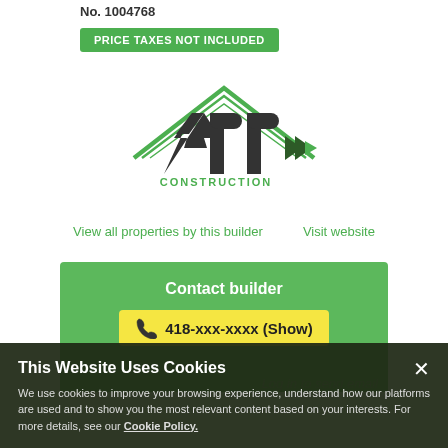No. 1004768
PRICE TAXES NOT INCLUDED
[Figure (logo): APR Construction logo — rooftop chevron shape in green above bold dark letters APR with arrows, subtitle CONSTRUCTION]
View all properties by this builder    Visit website
Contact builder
418-xxx-xxxx (Show)
Visit website
Log in to send email
This Website Uses Cookies
We use cookies to improve your browsing experience, understand how our platforms are used and to show you the most relevant content based on your interests. For more details, see our Cookie Policy.